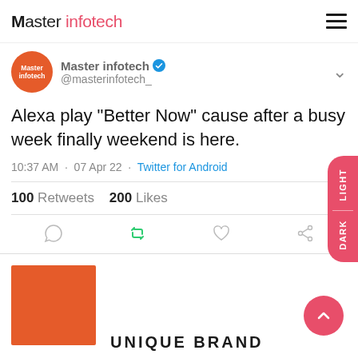Master Infotech
[Figure (screenshot): Twitter/X tweet card from @masterinfotech_ reading: Alexa play "Better Now" cause after a busy week finally weekend is here. Posted at 10:37 AM · 07 Apr 22 · Twitter for Android. 100 Retweets 200 Likes. With comment, retweet, like, and share action icons below.]
Alexa play "Better Now" cause after a busy week finally weekend is here.
10:37 AM · 07 Apr 22 · Twitter for Android
100 Retweets   200 Likes
[Figure (illustration): Orange rectangular block and UNIQUE BRAND text partially visible at bottom of page]